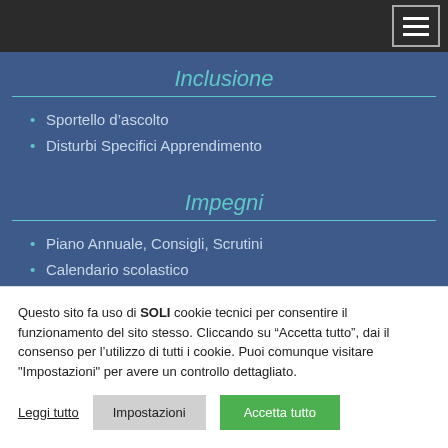Inclusione
Sportello d’ascolto
Disturbi Specifici Apprendimento
Impegni
Piano Annuale, Consigli, Scrutini
Calendario scolastico
Orario Settimanale
Impegni mensili
Questo sito fa uso di SOLI cookie tecnici per consentire il funzionamento del sito stesso. Cliccando su “Accetta tutto”, dai il consenso per l’utilizzo di tutti i cookie. Puoi comunque visitare "Impostazioni" per avere un controllo dettagliato.
Leggi tutto | Impostazioni | Accetta tutto